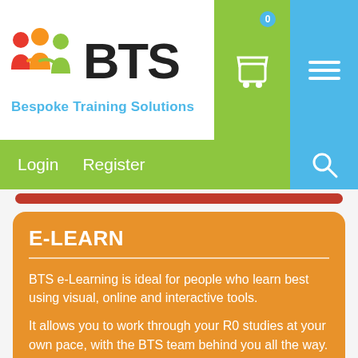[Figure (logo): BTS Bespoke Training Solutions logo with colorful people icons and blue tagline]
[Figure (screenshot): Navigation header with cart icon (0), hamburger menu, login, register, and search icons on green and blue backgrounds]
E-LEARN
BTS e-Learning is ideal for people who learn best using visual, online and interactive tools.
It allows you to work through your R0 studies at your own pace, with the BTS team behind you all the way.
BTS e-Learning can again show you the key